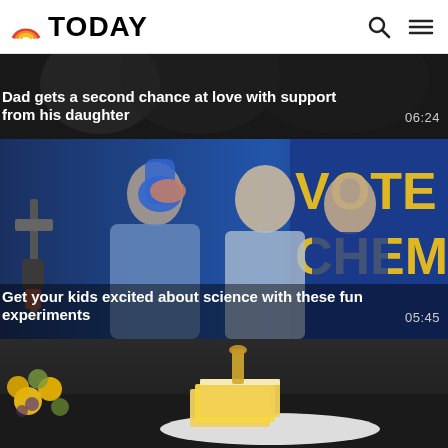TODAY
[Figure (photo): Dad gets a second chance at love with his daughter - video thumbnail, dark background]
Dad gets a second chance at love with support from his daughter 06:24
[Figure (photo): Three women in lab coats doing science experiments, blue background with yellow VOTE CHEM text visible]
Get your kids excited about science with these fun experiments 05:45
[Figure (photo): Yellow flowers and lemon bars on a white plate on a dark surface]